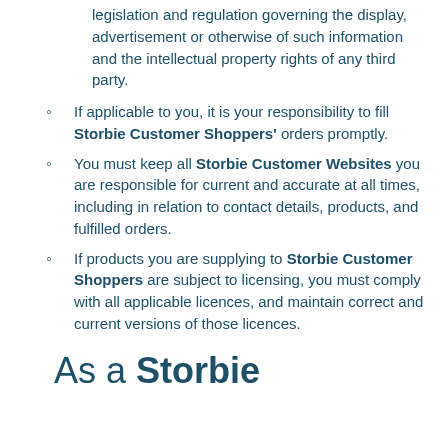legislation and regulation governing the display, advertisement or otherwise of such information and the intellectual property rights of any third party.
If applicable to you, it is your responsibility to fill Storbie Customer Shoppers' orders promptly.
You must keep all Storbie Customer Websites you are responsible for current and accurate at all times, including in relation to contact details, products, and fulfilled orders.
If products you are supplying to Storbie Customer Shoppers are subject to licensing, you must comply with all applicable licences, and maintain correct and current versions of those licences.
As a Storbie